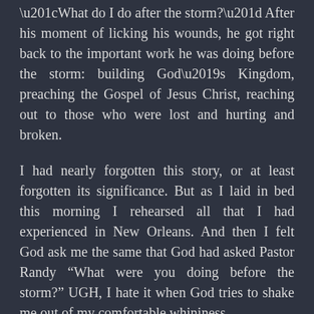“What do I do after the storm?” After his moment of licking his wounds, he got right back to the important work he was doing before the storm: building God’s Kingdom, preaching the Gospel of Jesus Christ, reaching out to those who were lost and hurting and broken.
I had nearly forgotten this story, or at least forgotten its significance. But as I laid in bed this morning I rehearsed all that I had experienced in New Orleans. And then I felt God ask me the same that God had asked Pastor Randy “What were you doing before the storm?” UGH, I hate it when God tries to shake me out of my comfortable whininess.
I don’t know what it will look like for the people called Methodist when the storm passes. I’m